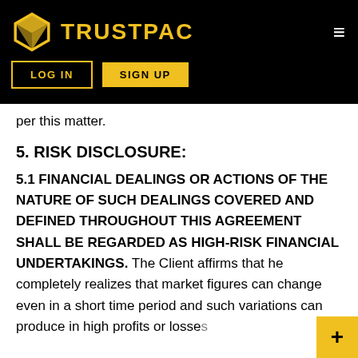TRUSTPAC — LOG IN | SIGN UP
per this matter.
5. RISK DISCLOSURE:
5.1 FINANCIAL DEALINGS OR ACTIONS OF THE NATURE OF SUCH DEALINGS COVERED AND DEFINED THROUGHOUT THIS AGREEMENT SHALL BE REGARDED AS HIGH-RISK FINANCIAL UNDERTAKINGS. The Client affirms that he completely realizes that market figures can change even in a short time period and such variations can produce in high profits or losses